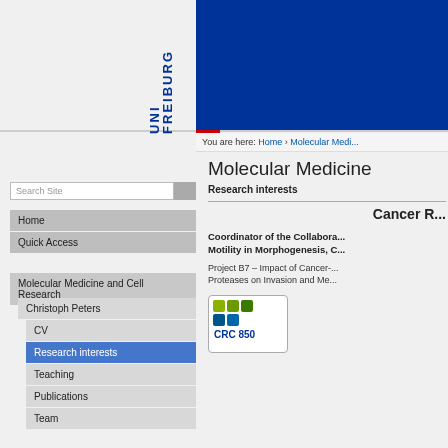[Figure (screenshot): University of Freiburg website header with blue banner and UNI FREIBURG vertical logo]
You are here: Home › Molecular Medi...
Molecular Medicine
Research interests
Cancer R...
Coordinator of the Collabora... Motility in Morphogenesis, C...
Project B7 – Impact of Cancer-... Proteases on Invasion and Me...
[Figure (logo): CRC 850 logo with green and blue icons]
Search Site
Home
Quick Access
Molecular Medicine and Cell Research
Christoph Peters
CV
Research interests
Teaching
Publications
Team